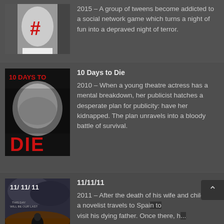[Figure (photo): Movie poster showing a young woman with a red hashtag symbol over her face]
2015 – A group of tweens become addicted to a social network game which turns a night of fun into a depraved night of terror.
[Figure (photo): Movie poster for '10 Days to Die' showing a woman in black and white with large red DIE text at bottom]
10 Days to Die
2010 – When a young theatre actress has a mental breakdown, her publicist hatches a desperate plan for publicity: have her kidnapped. The plan unravels into a bloody battle of survival.
[Figure (photo): Movie poster for '11/11/11' showing a boy against storm clouds with text 'THIS DAY WILL BE OUR LAST']
11/11/11
2011 – After the death of his wife and children, a novelist travels to Spain to visit his dying father. Once there, h...